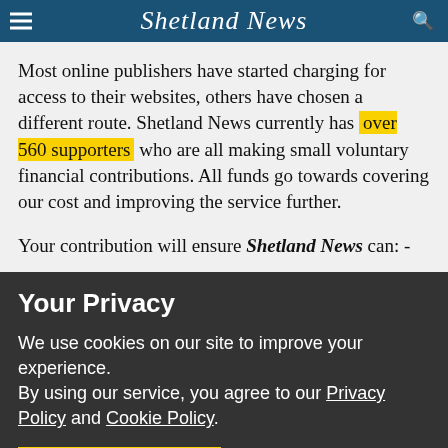Shetland News
Most online publishers have started charging for access to their websites, others have chosen a different route. Shetland News currently has over 560 supporters who are all making small voluntary financial contributions. All funds go towards covering our cost and improving the service further.
Your contribution will ensure Shetland News can: -
Your Privacy
We use cookies on our site to improve your experience.
By using our service, you agree to our Privacy Policy and Cookie Policy.
I'm OK with that